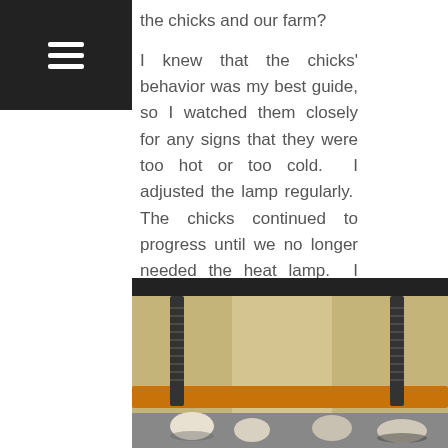≡ [hamburger menu icon]
the chicks and our farm?
I knew that the chicks' behavior was my best guide, so I watched them closely for any signs that they were too hot or too cold.  I adjusted the lamp regularly.  The chicks continued to progress until we no longer needed the heat lamp.  I continued to worry that the lamp would burn out in the middle of the night or fall to the brooder below in spite of my efforts to reinforce it and provide secondary means of securing it above the chicks.
[Figure (photo): A DIY brooder box with wooden beams and bolts/screws supporting a lamp fixture above chicks visible at the bottom.]